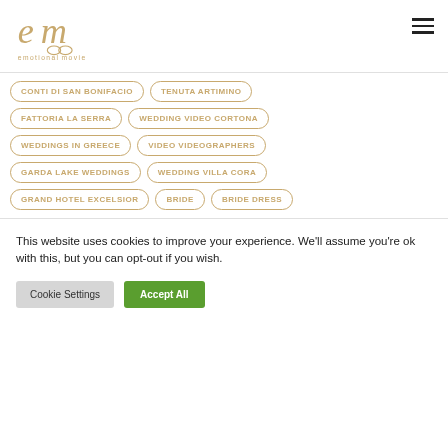[Figure (logo): emotional movie logo with gold stylized 'em' script and text 'emotional movie' below]
CONTI DI SAN BONIFACIO
TENUTA ARTIMINO
FATTORIA LA SERRA
WEDDING VIDEO CORTONA
WEDDINGS IN GREECE
VIDEO VIDEOGRAPHERS
GARDA LAKE WEDDINGS
WEDDING VILLA CORA
GRAND HOTEL EXCELSIOR
BRIDE
BRIDE DRESS
This website uses cookies to improve your experience. We'll assume you're ok with this, but you can opt-out if you wish.
Cookie Settings | Accept All